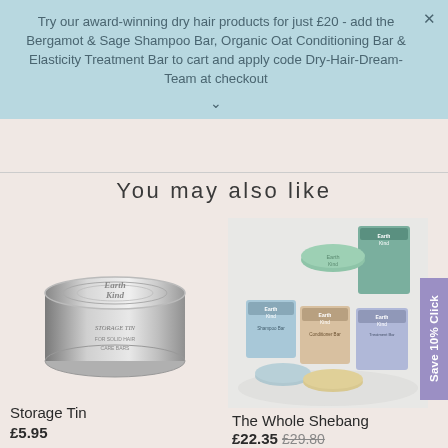Try our award-winning dry hair products for just £20 - add the Bergamot & Sage Shampoo Bar, Organic Oat Conditioning Bar & Elasticity Treatment Bar to cart and apply code Dry-Hair-Dream-Team at checkout
You may also like
[Figure (photo): Silver metallic storage tin with embossed Earth Kind logo and product name]
Storage Tin
£5.95
[Figure (photo): Earth Kind product collection showing multiple solid shampoo and conditioner bars with branded boxes]
The Whole Shebang
£22.35  £29.80